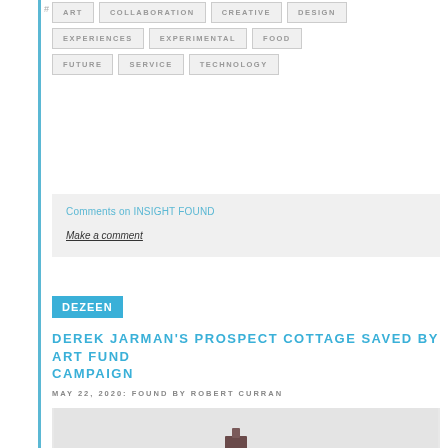ART | COLLABORATION | CREATIVE | DESIGN | EXPERIENCES | EXPERIMENTAL | FOOD | FUTURE | SERVICE | TECHNOLOGY
Comments on INSIGHT FOUND
Make a comment
DEZEEN
DEREK JARMAN'S PROSPECT COTTAGE SAVED BY ART FUND CAMPAIGN
MAY 22, 2020: FOUND BY ROBERT CURRAN
[Figure (photo): Misty outdoor photo showing a small dark figure or structure silhouetted against a pale grey sky, with another distant figure to the right]